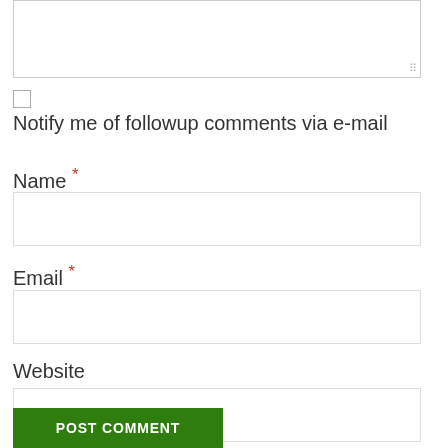[Figure (screenshot): Textarea input box (partially visible at top, with resize handle)]
Notify me of followup comments via e-mail
Name *
[Figure (screenshot): Name text input field]
Email *
[Figure (screenshot): Email text input field]
Website
[Figure (screenshot): Website text input field]
POST COMMENT